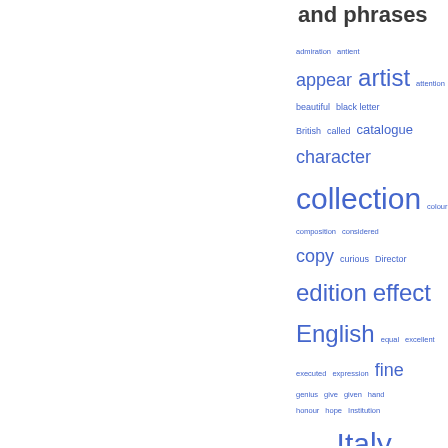and phrases
[Figure (infographic): Tag cloud of words and phrases including: admiration, antient, appear, artist, attention, beautiful, black letter, British, called, catalogue, character, collection, colouring, composition, considered, copy, curious, Director, edition, effect, English, equal, excellent, executed, expression, fine, genius, give, given, hand, honour, hope, Institution, interesting, Italy, John, kind, known, labour, late, learned, lecture, less, letter]